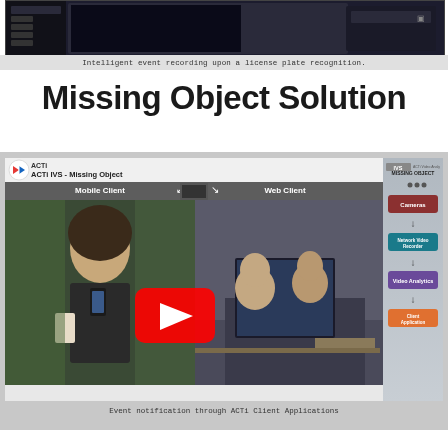[Figure (screenshot): Screenshot of intelligent event recording software interface showing license plate recognition]
Intelligent event recording upon a license plate recognition.
Missing Object Solution
[Figure (screenshot): ACTi IVS Missing Object solution overview showing YouTube video thumbnail with Mobile Client and Web Client views, and a system diagram showing Cameras -> Network Video Recorder -> Video Analytics -> Client Application flow]
Event notification through ACTi Client Applications